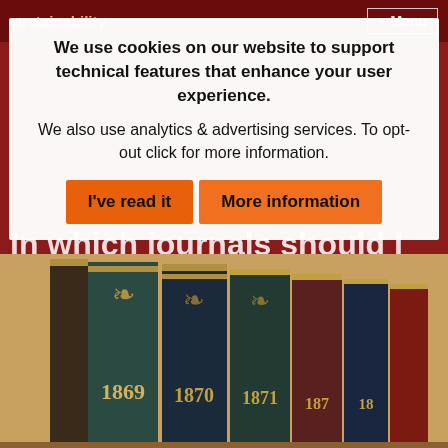Sustainability — Menu
We use cookies on our website to support technical features that enhance your user experience.
We also use analytics & advertising services. To opt-out click for more information.
In which journals should I publish my research?
By Neil Chue Hong.
[Figure (photo): Row of old leather-bound journals/books showing spines with years 1869, 1870, 1871, 187x partially visible, arranged side by side on a shelf.]